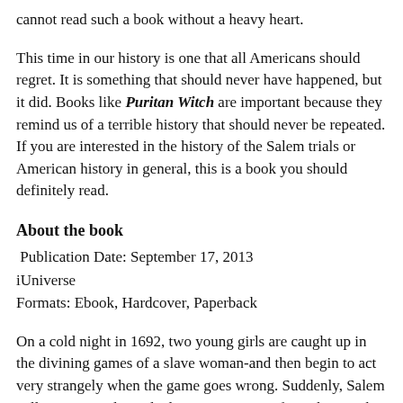cannot read such a book without a heavy heart.
This time in our history is one that all Americans should regret. It is something that should never have happened, but it did. Books like Puritan Witch are important because they remind us of a terrible history that should never be repeated. If you are interested in the history of the Salem trials or American history in general, this is a book you should definitely read.
About the book
Publication Date: September 17, 2013
iUniverse
Formats: Ebook, Hardcover, Paperback
On a cold night in 1692, two young girls are caught up in the divining games of a slave woman-and then begin to act very strangely when the game goes wrong. Suddenly, Salem Village is turned upside down as everyone fears that witches may be involved. Six months later, as news of the girls' strange behavior becomes known, fear and suspicion overwhelm a nearby farming community, pitting neighbors